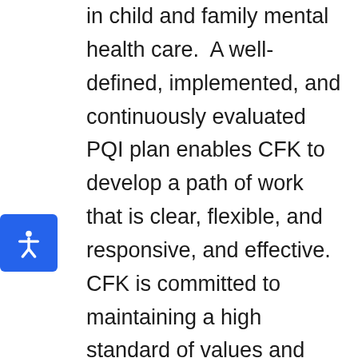in child and family mental health care.  A well-defined, implemented, and continuously evaluated PQI plan enables CFK to develop a path of work that is clear, flexible, and responsive, and effective. CFK is committed to maintaining a high standard of values and personal accountability which is inclusive of all parts of the organization as well as its identified stakeholders.  The PQI plan for CFK is the evaluation of services against standards to measure organizational innovation, performance, services, and effectiveness. Connections for Kids maintains a system